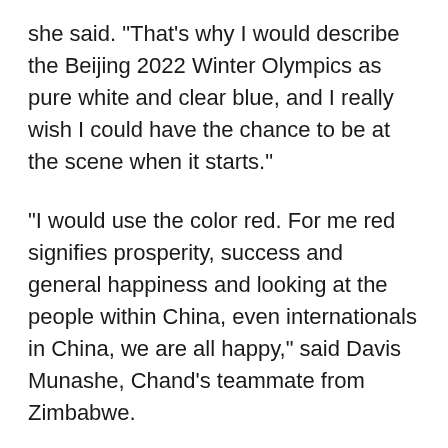she said. "That's why I would describe the Beijing 2022 Winter Olympics as pure white and clear blue, and I really wish I could have the chance to be at the scene when it starts."
"I would use the color red. For me red signifies prosperity, success and general happiness and looking at the people within China, even internationals in China, we are all happy," said Davis Munashe, Chand's teammate from Zimbabwe.
Davis has also tried many winter sports, especially skating and skiing. "They are not as easy as I thought, but all the same